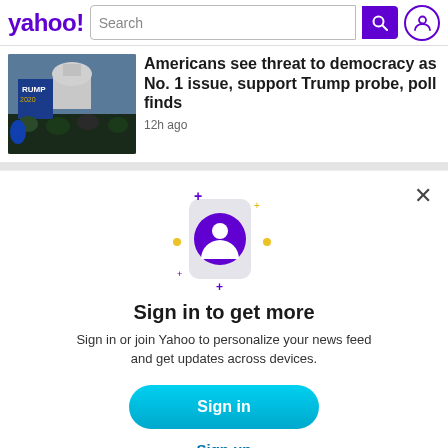yahoo! Search
Americans see threat to democracy as No. 1 issue, support Trump probe, poll finds
12h ago
[Figure (photo): Crowd with Trump 2020 flag near Capitol building]
[Figure (illustration): Yahoo sign-in modal with phone icon and person avatar, sparkle decorations]
Sign in to get more
Sign in or join Yahoo to personalize your news feed and get updates across devices.
Sign in
Sign up